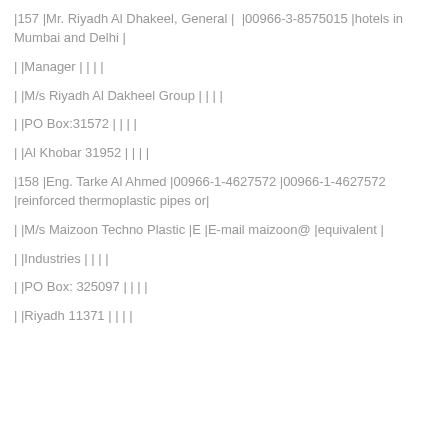|157 |Mr. Riyadh Al Dhakeel, General |  |00966-3-8575015 |hotels in Mumbai and Delhi |
| |Manager | | | |
| |M/s Riyadh Al Dakheel Group | | | |
| |PO Box:31572 | | | |
| |Al Khobar 31952 | | | |
|158 |Eng. Tarke Al Ahmed |00966-1-4627572 |00966-1-4627572 |reinforced thermoplastic pipes or|
| |M/s Maizoon Techno Plastic |E |E-mail maizoon@ |equivalent |
| |Industries | | | |
| |PO Box: 325097 | | | |
| |Riyadh 11371 | | | |